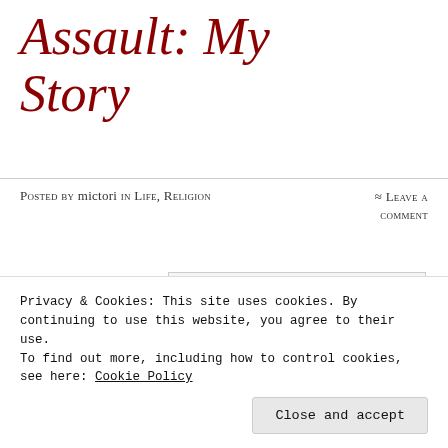Assault: My Story
Posted by mictori in Life, Religion   ≈ Leave a comment
[Figure (photo): Broken image placeholder with small image icon in top-left corner]
Tags
Christian
Privacy & Cookies: This site uses cookies. By continuing to use this website, you agree to their use. To find out more, including how to control cookies, see here: Cookie Policy
Close and accept